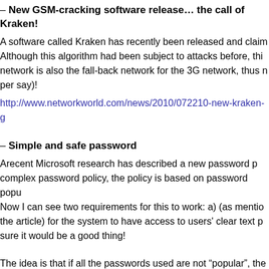– New GSM-cracking software release… the call of Kraken!
A software called Kraken has recently been released and claimed to... Although this algorithm had been subject to attacks before, this network is also the fall-back network for the 3G network, thus making... per say)!
http://www.networkworld.com/news/2010/072210-new-kraken-g...
– Simple and safe password
Arecent Microsoft research has described a new password policy... complex password policy, the policy is based on password popu... Now I can see two requirements for this to work: a) (as mentioned in the article) for the system to have access to users' clear text p... sure it would be a good thing!
The idea is that if all the passwords used are not "popular", the...